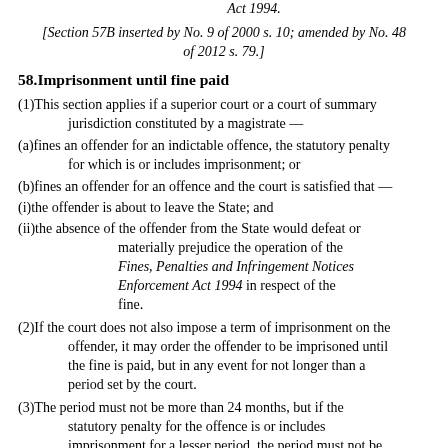Act 1994.
[Section 57B inserted by No. 9 of 2000 s. 10; amended by No. 48 of 2012 s. 79.]
58.Imprisonment until fine paid
(1)This section applies if a superior court or a court of summary jurisdiction constituted by a magistrate —
(a)fines an offender for an indictable offence, the statutory penalty for which is or includes imprisonment; or
(b)fines an offender for an offence and the court is satisfied that —
(i)the offender is about to leave the State; and
(ii)the absence of the offender from the State would defeat or materially prejudice the operation of the Fines, Penalties and Infringement Notices Enforcement Act 1994 in respect of the fine.
(2)If the court does not also impose a term of imprisonment on the offender, it may order the offender to be imprisoned until the fine is paid, but in any event for not longer than a period set by the court.
(3)The period must not be more than 24 months, but if the statutory penalty for the offence is or includes imprisonment for a lesser period, the period must not be